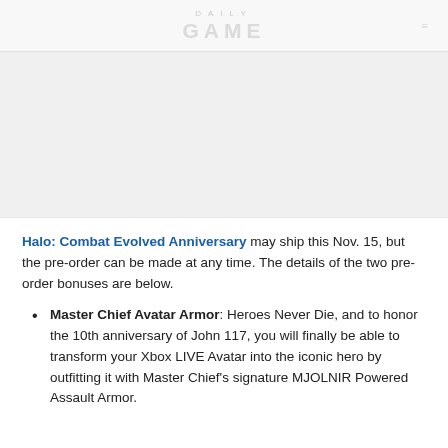DAILY GAME
[Figure (photo): Image area placeholder (article image)]
Halo: Combat Evolved Anniversary may ship this Nov. 15, but the pre-order can be made at any time. The details of the two pre-order bonuses are below.
Master Chief Avatar Armor: Heroes Never Die, and to honor the 10th anniversary of John 117, you will finally be able to transform your Xbox LIVE Avatar into the iconic hero by outfitting it with Master Chief's signature MJOLNIR Powered Assault Armor.